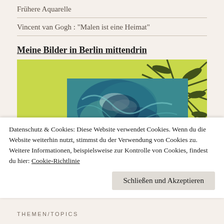Frühere Aquarelle
Vincent van Gogh : "Malen ist eine Heimat"
Meine Bilder in Berlin mittendrin
[Figure (photo): A painting displayed against a bright yellow-green background with a dark tropical palm plant silhouette on the right. The painting shows an abstract or impressionistic scene with blues, teals, greens, white, and warm tones.]
Datenschutz & Cookies: Diese Website verwendet Cookies. Wenn du die Website weiterhin nutzt, stimmst du der Verwendung von Cookies zu. Weitere Informationen, beispielsweise zur Kontrolle von Cookies, findest du hier: Cookie-Richtlinie
Schließen und Akzeptieren
THEMEN/TOPICS